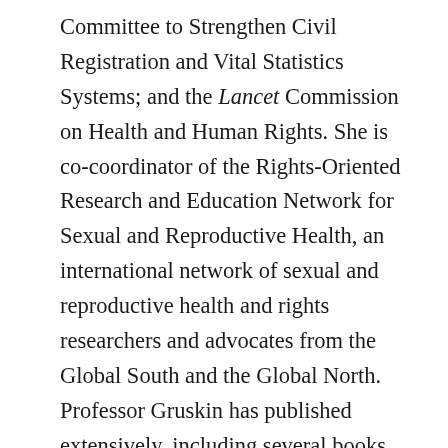Committee to Strengthen Civil Registration and Vital Statistics Systems; and the Lancet Commission on Health and Human Rights. She is co-coordinator of the Rights-Oriented Research and Education Network for Sexual and Reproductive Health, an international network of sexual and reproductive health and rights researchers and advocates from the Global South and the Global North. Professor Gruskin has published extensively, including several books, training manuals and edited journal volumes, and more than 200 articles and chapters covering a wide range of topics. She is an associate editor for Global Public Health, on the editorial advisory board for Revue Internationale des Études du Développement, and a trustee of Sexual